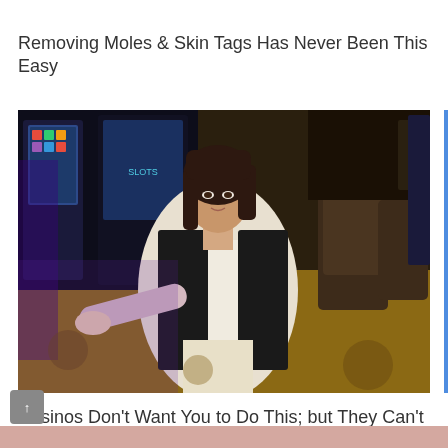Removing Moles & Skin Tags Has Never Been This Easy
[Figure (photo): A woman in a white shirt and black blazer sitting in a casino environment with gaming machines and chairs visible in the background]
Casinos Don't Want You to Do This; but They Can't Stop You